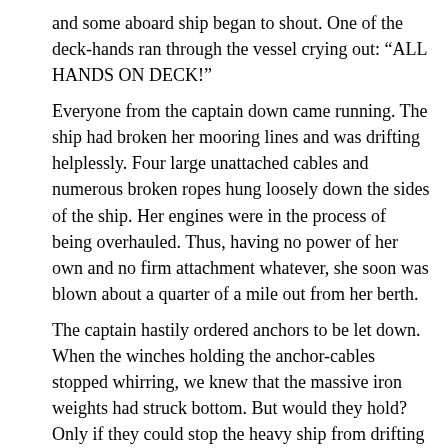and some aboard ship began to shout. One of the deck-hands ran through the vessel crying out: "ALL HANDS ON DECK!"
Everyone from the captain down came running. The ship had broken her mooring lines and was drifting helplessly. Four large unattached cables and numerous broken ropes hung loosely down the sides of the ship. Her engines were in the process of being overhauled. Thus, having no power of her own and no firm attachment whatever, she soon was blown about a quarter of a mile out from her berth.
The captain hastily ordered anchors to be let down. When the winches holding the anchor-cables stopped whirring, we knew that the massive iron weights had struck bottom. But would they hold? Only if they could stop the heavy ship from drifting was she safe from following her helpless, dangerous course.
What a picture this is of every member of the human